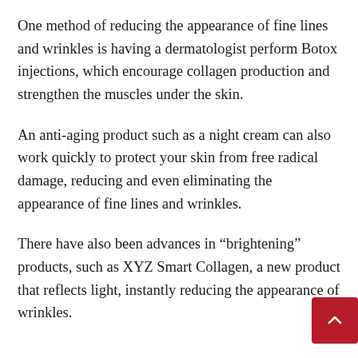One method of reducing the appearance of fine lines and wrinkles is having a dermatologist perform Botox injections, which encourage collagen production and strengthen the muscles under the skin.
An anti-aging product such as a night cream can also work quickly to protect your skin from free radical damage, reducing and even eliminating the appearance of fine lines and wrinkles.
There have also been advances in “brightening” products, such as XYZ Smart Collagen, a new product that reflects light, instantly reducing the appearance of wrinkles.